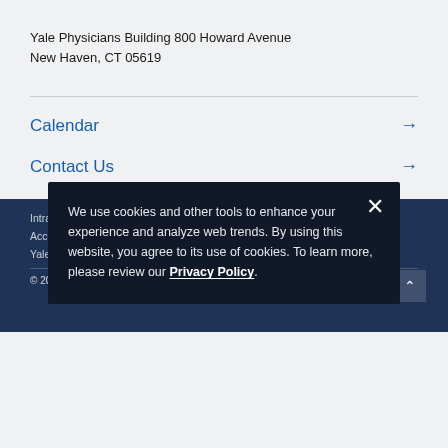Yale Physicians Building 800 Howard Avenue
New Haven, CT 05619
Calendar →
Contact Us →
Intranet   Site Editor
Accessibility at YSM   Terms & Privacy Policy
Yale University   Yale Phonebook
© 2022 Yale School of Medicine. Updated 07/15/2019
We use cookies and other tools to enhance your experience and analyze web trends. By using this website, you agree to its use of cookies. To learn more, please review our Privacy Policy.